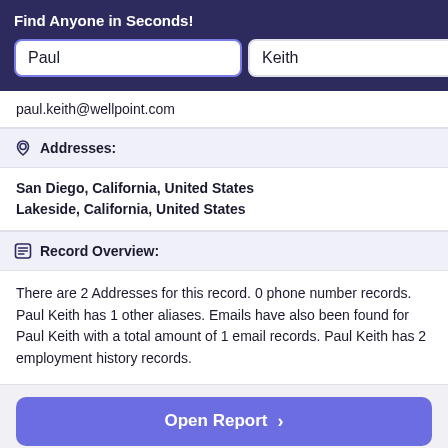Find Anyone in Seconds!
paul.keith@wellpoint.com
Addresses:
San Diego, California, United States
Lakeside, California, United States
Record Overview:
There are 2 Addresses for this record. 0 phone number records. Paul Keith has 1 other aliases. Emails have also been found for Paul Keith with a total amount of 1 email records. Paul Keith has 2 employment history records.
Open Report >
Quick Overview